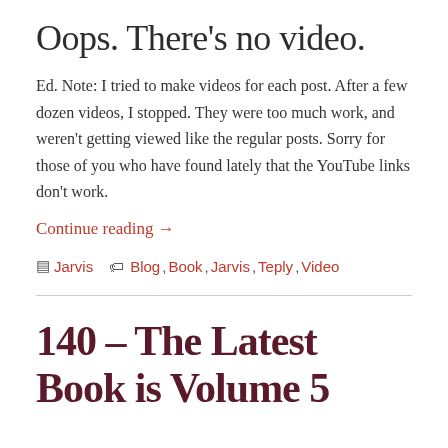Oops. There's no video.
Ed. Note: I tried to make videos for each post. After a few dozen videos, I stopped. They were too much work, and weren't getting viewed like the regular posts. Sorry for those of you who have found lately that the YouTube links don't work.
Continue reading →
Jarvis  Blog, Book, Jarvis, Teply, Video
140 – The Latest Book is Volume 5